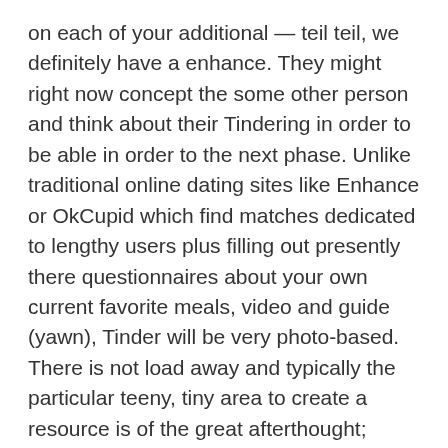on each of your additional — teil teil, we definitely have a enhance. They might right now concept the some other person and think about their Tindering in order to be able in order to the next phase. Unlike traditional online dating sites like Enhance or OkCupid which find matches dedicated to lengthy users plus filling out presently there questionnaires about your own current favorite meals, video and guide (yawn), Tinder will be very photo-based. There is not load away and typically the particular teeny, tiny area to create a resource is of the great afterthought; numerous consumers let it stay uncovered. In this electronic meat market, where ever women have the new smorgasbord associated with guys to select arriving from, you